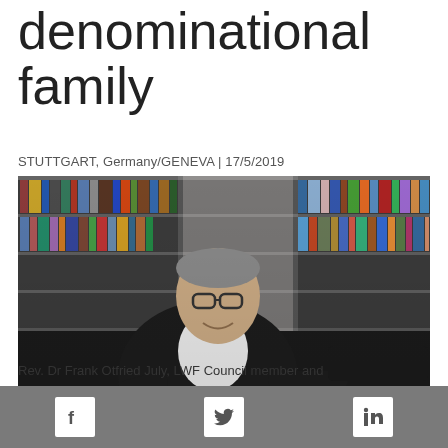denominational family
STUTTGART, Germany/GENEVA | 17/5/2019
[Figure (photo): Rev. Dr Frank Otfried July seated on a black leather sofa in front of a large white bookshelf filled with books, wearing a black suit and white clerical collar shirt, smiling at the camera.]
Rev. Dr Frank Otfried July, LWF Council member and
Facebook | Twitter | LinkedIn social share icons